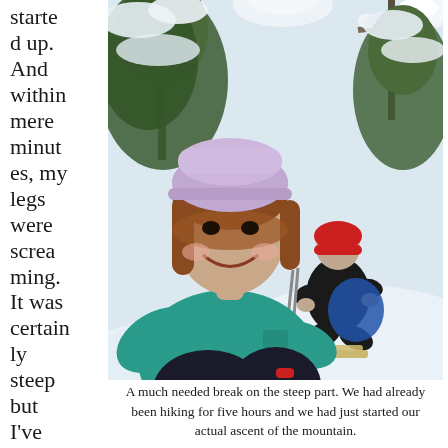started up. And within mere minutes, my legs were screaming. It was certainly steep but I've climbed
[Figure (photo): Two women taking a break on a steep, snowy mountain trail surrounded by snow-laden trees. In the foreground, a woman in a teal jacket and lavender hat smiles at the camera. In the background, another person in a red hat and black jacket sits on the snow with ski equipment nearby.]
A much needed break on the steep part. We had already been hiking for five hours and we had just started our actual ascent of the mountain.